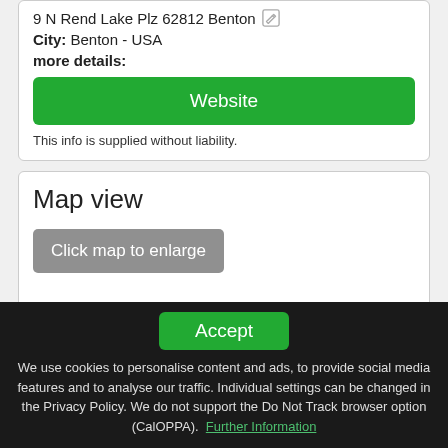9 N Rend Lake Plz 62812 Benton
City: Benton - USA
more details:
Website
This info is supplied without liability.
Map view
Click map to enlarge
Accept
We use cookies to personalise content and ads, to provide social media features and to analyse our traffic. Individual settings can be changed in the Privacy Policy. We do not support the Do Not Track browser option (CalOPPA).  Further Information